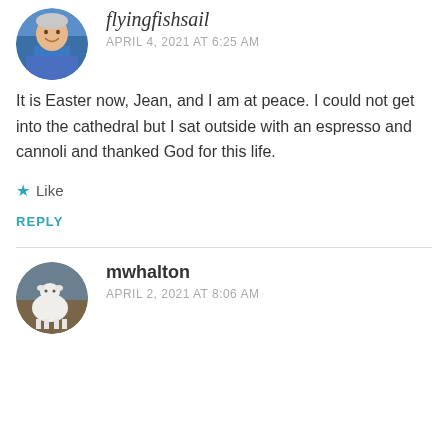[Figure (photo): Circular avatar photo of a smiling man in a blue patterned shirt]
flyingfishsail
APRIL 4, 2021 AT 6:25 AM
It is Easter now, Jean, and I am at peace. I could not get into the cathedral but I sat outside with an espresso and cannoli and thanked God for this life.
★ Like
REPLY
[Figure (photo): Circular avatar photo of a white goat or deer in an outdoor setting]
mwhalton
APRIL 2, 2021 AT 8:06 AM